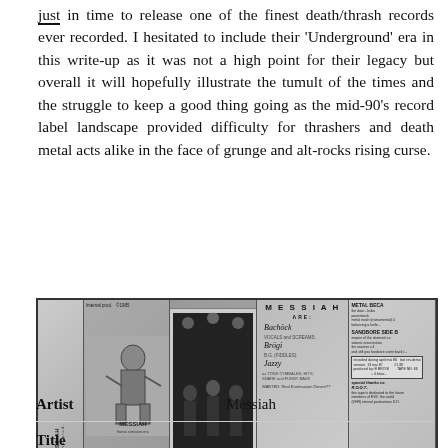just in time to release one of the finest death/thrash records ever recorded. I hesitated to include their 'Underground' era in this write-up as it was not a high point for their legacy but overall it will hopefully illustrate the tumult of the times and the struggle to keep a good thing going as the mid-90's record label landscape provided difficulty for thrashers and death metal acts alike in the face of grunge and alt-rocks rising curse.
[Figure (photo): Collage of four cassette tape panels related to Messiah band, including Powertrash artwork, band photo, handwritten liner notes, and info sheet.]
| Artist | Messiah |
| --- | --- |
| Title |  |
| --- | --- |